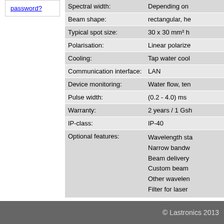password?
| Property | Value |
| --- | --- |
| Spectral width: | Depending on |
| Beam shape: | rectangular, he |
| Typical spot size: | 30 x 30 mm² h |
| Polarisation: | Linear polarize |
| Cooling: | Tap water cool |
| Communication interface: | LAN |
| Device monitoring: | Water flow, ten |
| Pulse width: | (0.2 - 4.0) ms |
| Warranty: | 2 years / 1 Gsh |
| IP-class: | IP-40 |
| Optional features: | Wavelength sta
Narrow bandw
Beam delivery
Custom beam
Other wavelen
Filter for laser |
© Lastronics 2013